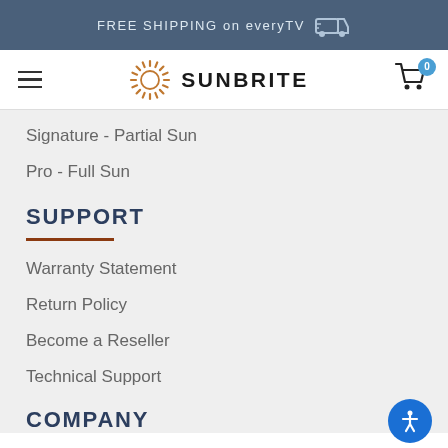FREE SHIPPING on everyTV
[Figure (logo): SunBrite logo with sunburst icon and cart with badge showing 0]
Signature - Partial Sun
Pro - Full Sun
SUPPORT
Warranty Statement
Return Policy
Become a Reseller
Technical Support
COMPANY